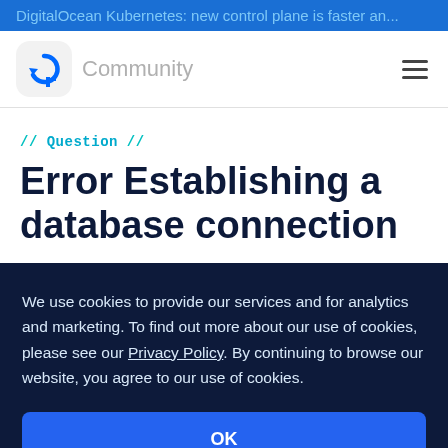DigitalOcean Kubernetes: new control plane is faster an...
[Figure (logo): DigitalOcean Community logo — blue circular arrow icon with pixel accent, next to the word 'Community' in gray]
// Question //
Error Establishing a database connection
We use cookies to provide our services and for analytics and marketing. To find out more about our use of cookies, please see our Privacy Policy. By continuing to browse our website, you agree to our use of cookies.
OK